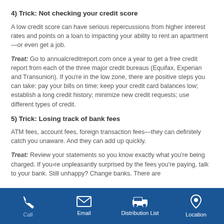4) Trick: Not checking your credit score
A low credit score can have serious repercussions from higher interest rates and points on a loan to impacting your ability to rent an apartment—or even get a job.
Treat: Go to annualcreditreport.com once a year to get a free credit report from each of the three major credit bureaus (Equifax, Experian and Transunion). If you're in the low zone, there are positive steps you can take: pay your bills on time; keep your credit card balances low; establish a long credit history; minimize new credit requests; use different types of credit.
5) Trick: Losing track of bank fees
ATM fees, account fees, foreign transaction fees—they can definitely catch you unaware. And they can add up quickly.
Treat: Review your statements so you know exactly what you're being charged. If you're unpleasantly surprised by the fees you're paying, talk to your bank. Still unhappy? Change banks. There are
Call | Email | Distribution List | Location